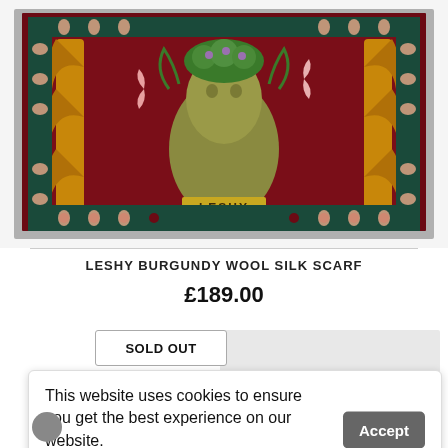[Figure (photo): A decorative wool silk scarf featuring a bear-like forest spirit figure (Leshy) on a dark burgundy background with floral and tree motifs, ornate border with leaves pattern, and 'LESHY' text label at the bottom center.]
LESHY BURGUNDY WOOL SILK SCARF
£189.00
SOLD OUT
This website uses cookies to ensure you get the best experience on our website.
Learn more
Accept